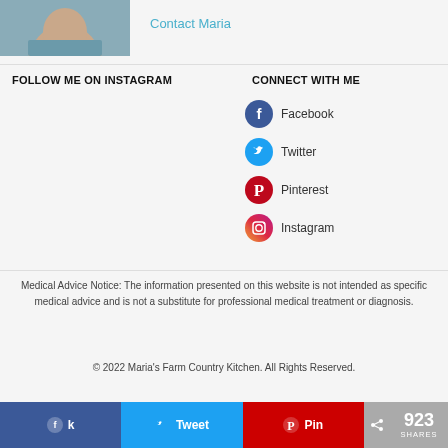[Figure (photo): Partial profile photo of a woman in a gray/teal shirt, cropped at neck]
Contact Maria
FOLLOW ME ON INSTAGRAM
CONNECT WITH ME
Facebook
Twitter
Pinterest
Instagram
Medical Advice Notice: The information presented on this website is not intended as specific medical advice and is not a substitute for professional medical treatment or diagnosis.
© 2022 Maria's Farm Country Kitchen. All Rights Reserved.
923 SHARES